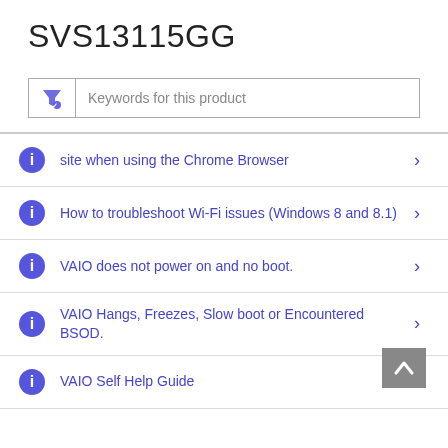SVS13115GG
[Figure (screenshot): Search filter box with placeholder text 'Keywords for this product']
site when using the Chrome Browser
How to troubleshoot Wi-Fi issues (Windows 8 and 8.1)
VAIO does not power on and no boot.
VAIO Hangs, Freezes, Slow boot or Encountered BSOD.
VAIO Self Help Guide